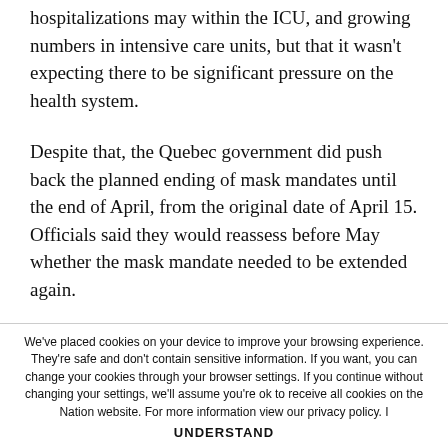hospitalizations may within the ICU, and growing numbers in intensive care units, but that it wasn't expecting there to be significant pressure on the health system.
Despite that, the Quebec government did push back the planned ending of mask mandates until the end of April, from the original date of April 15. Officials said they would reassess before May whether the mask mandate needed to be extended again.
Quebec's Health Ministry approved the release of the Pfizer antiviral Paxlovid to symptomatic patients at risk of developing complications from the virus. Patients will be
We've placed cookies on your device to improve your browsing experience. They're safe and don't contain sensitive information. If you want, you can change your cookies through your browser settings. If you continue without changing your settings, we'll assume you're ok to receive all cookies on the Nation website. For more information view our privacy policy. I
UNDERSTAND